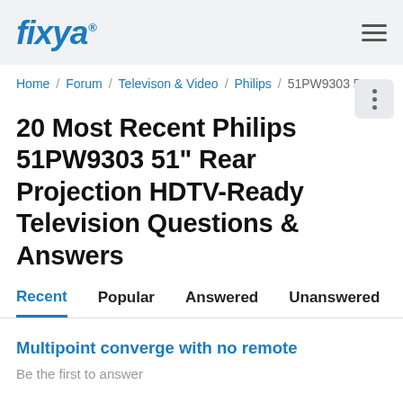fixya
Home / Forum / Televison & Video / Philips / 51PW9303 51"
20 Most Recent Philips 51PW9303 51" Rear Projection HDTV-Ready Television Questions & Answers
Recent   Popular   Answered   Unanswered
Multipoint converge with no remote
Be the first to answer